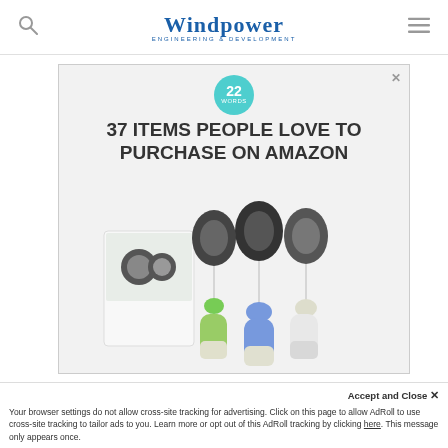Windpower Engineering & Development
[Figure (illustration): Advertisement banner: teal circular badge with '22 Words', bold headline '37 ITEMS PEOPLE LOVE TO PURCHASE ON AMAZON', product image showing retractable badge reels with silicone travel bottles in green, blue, and clear]
A 2.5% bidding credit to bidders who have executed or commit to executing a community benefit agreement...
Your browser settings do not allow cross-site tracking for advertising. Click on this page to allow AdRoll to use cross-site tracking to tailor ads to you. Learn more or opt out of this AdRoll tracking by clicking here. This message only appears once.